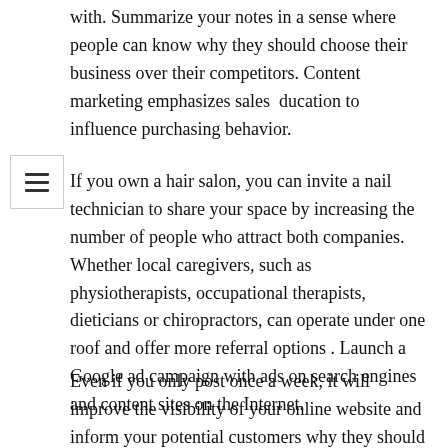with. Summarize your notes in a sense where people can know why they should choose their business over their competitors. Content marketing emphasizes sales education to influence purchasing behavior.
If you own a hair salon, you can invite a nail technician to share your space by increasing the number of people who attract both companies. Whether local caregivers, such as physiotherapists, occupational therapists, dieticians or chiropractors, can operate under one roof and offer more referral options . Launch a Google ad campaign with ads on search engines and content sites on the Internet.
Even if you only post once a week, it will improve the visibility of your online website and inform your potential customers why they should trust your business. If you plan to write your messages yourself, consult this